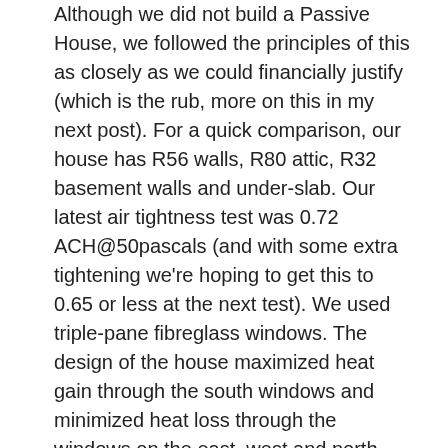Although we did not build a Passive House, we followed the principles of this as closely as we could financially justify (which is the rub, more on this in my next post). For a quick comparison, our house has R56 walls, R80 attic, R32 basement walls and under-slab. Our latest air tightness test was 0.72 ACH@50pascals (and with some extra tightening we're hoping to get this to 0.65 or less at the next test). We used triple-pane fibreglass windows. The design of the house maximized heat gain through the south windows and minimized heat loss through the windows on the east, west and north sides. Passive shading with our roof overhangs prevents overheating in the summer. The positioning of the house is directly south (a luxury we have living on an acreage). We also installed PV panels to offset our meagre energy use, which are becoming more and more affordable.
Now, a lot of people wonder and ask (I know I did prior to building), that it must cost substantially more money to